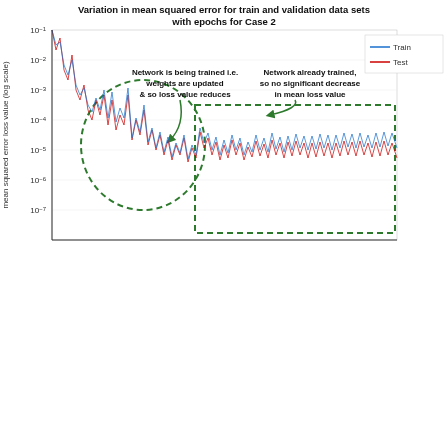[Figure (continuous-plot): Residual error scatter plot vs Time (s). Red dots scattered between approximately -0.075 and +0.050, with x-axis from 0 to ~225 seconds. Y-axis labeled 'Residual error'. A dense red band appears at the top of the figure (above the scatter plot area).]
[Figure (continuous-plot): Line chart titled 'Variation in mean squared error for train and validation data sets with epochs for Case 2'. Y-axis is 'mean squared error loss value (log scale)' ranging from 10^-8 to 10^-1. Blue line = Train, Red line = Test. Two annotated dashed-oval regions: left region annotated 'Network is being trained i.e. weights are updated & so loss value reduces'; right rectangle annotated 'Network already trained, so no significant decrease in mean loss value'.]